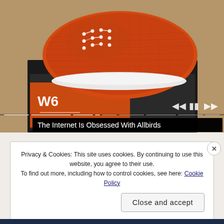[Figure (photo): Orange/rust colored Allbirds sneakers (W6 size label) sitting on top of their black shoe box. The shoes have a knit mesh upper and white sole. The box is dark charcoal/black with orange Allbirds branding. The background appears to be a wooden floor. Video player controls (skip back, pause, skip forward) are visible in the lower right of the image, along with a progress bar across the bottom.]
The Internet Is Obsessed With Allbirds
Privacy & Cookies: This site uses cookies. By continuing to use this website, you agree to their use.
To find out more, including how to control cookies, see here: Cookie Policy
Close and accept